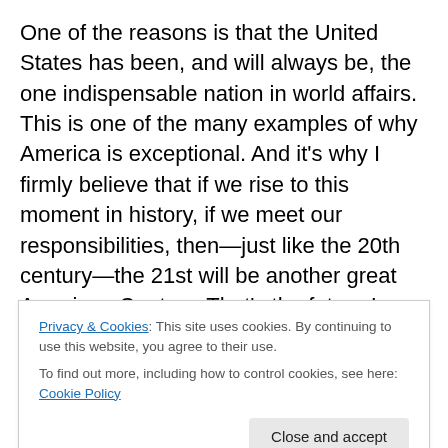One of the reasons is that the United States has been, and will always be, the one indispensable nation in world affairs. This is one of the many examples of why America is exceptional. And it's why I firmly believe that if we rise to this moment in history, if we meet our responsibilities, then—just like the 20th century—the 21st will be another great American Century. That's the future I see; that's the future you can build.
I see an American Century because we have the resilience to make it through these tough economic times.
Privacy & Cookies: This site uses cookies. By continuing to use this website, you agree to their use. To find out more, including how to control cookies, see here: Cookie Policy
Close and accept
our dependence on foreign oil. We need to get on with